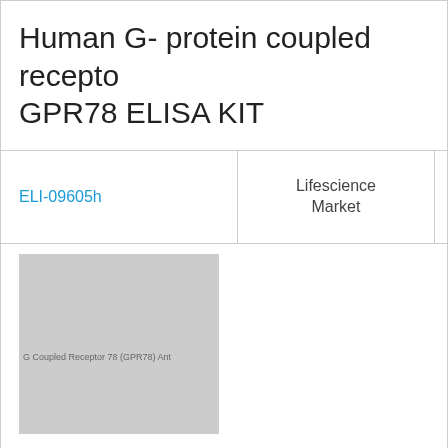Human G- protein coupled receptor GPR78 ELISA KIT
|  | Lifescience Market | 96 Tests |
| --- | --- | --- |
| ELI-09605h | Lifescience Market | 96 Tests |
[Figure (photo): Product image placeholder for G Protein Coupled Receptor 78 antibody/ELISA kit, shown as a gray square with small text overlay]
G Protein Coupled Receptor 78 (G... Antibody